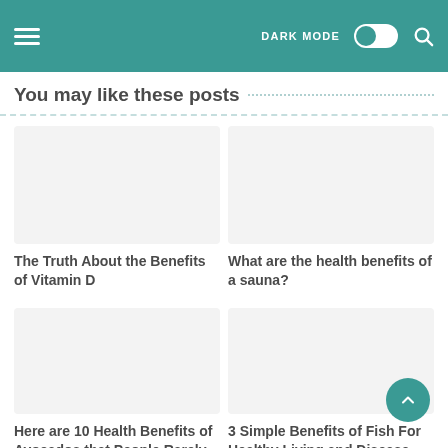DARK MODE
You may like these posts
The Truth About the Benefits of Vitamin D
What are the health benefits of a sauna?
Here are 10 Health Benefits of Avocados that People Rarely know
3 Simple Benefits of Fish For Healthy Living and Disease Prevention